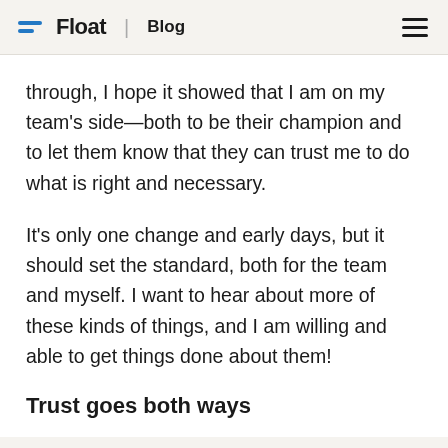Float | Blog
through, I hope it showed that I am on my team's side—both to be their champion and to let them know that they can trust me to do what is right and necessary.
It's only one change and early days, but it should set the standard, both for the team and myself. I want to hear about more of these kinds of things, and I am willing and able to get things done about them!
Trust goes both ways